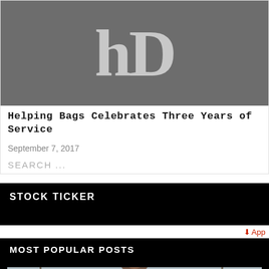[Figure (logo): Large stylized 'HD' or 'hb' logo in light gray on dark gray background, partially cropped at top]
Helping Bags Celebrates Three Years of Service
September 7, 2017
SEARCH ...
STOCK TICKER
↓ App
MOST POPULAR POSTS
[Figure (photo): Partially visible photo of a bald man outdoors with bare trees in the background]